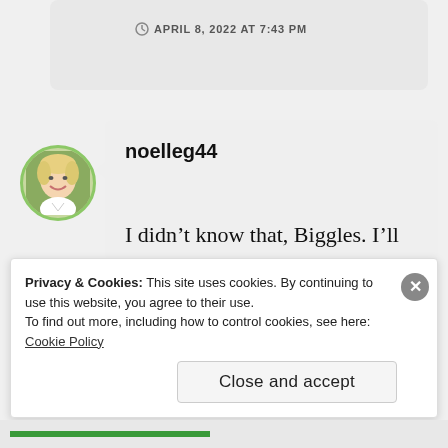APRIL 8, 2022 AT 7:43 PM
[Figure (photo): Circular avatar photo of a blonde woman smiling, with green border]
noelleg44
I didn't know that, Biggles. I'll keep it in mind.
★ Liked by 1 person
Privacy & Cookies: This site uses cookies. By continuing to use this website, you agree to their use. To find out more, including how to control cookies, see here: Cookie Policy
Close and accept